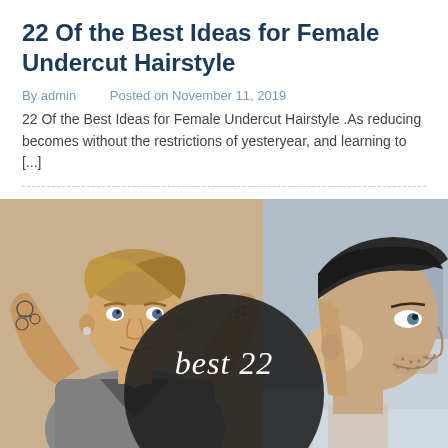22 Of the Best Ideas for Female Undercut Hairstyle
By admin   Posted on November 11, 2019
22 Of the Best Ideas for Female Undercut Hairstyle .As reducing becomes without the restrictions of yesteryear, and learning to [...]
[Figure (photo): Two men with undercut hairstyles. Left: blond man with tattoos and arms raised behind head. Right: man in side profile showing a fade undercut. Dark circular overlay at bottom center with italic text 'best 22'.]